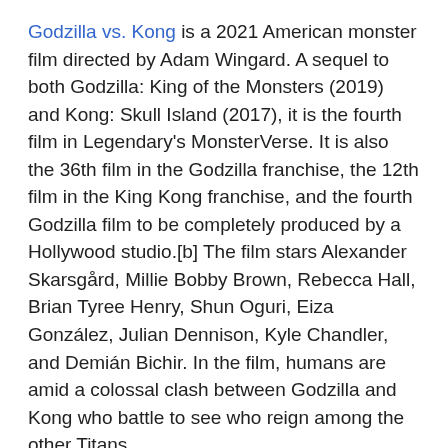Godzilla vs. Kong is a 2021 American monster film directed by Adam Wingard. A sequel to both Godzilla: King of the Monsters (2019) and Kong: Skull Island (2017), it is the fourth film in Legendary's MonsterVerse. It is also the 36th film in the Godzilla franchise, the 12th film in the King Kong franchise, and the fourth Godzilla film to be completely produced by a Hollywood studio.[b] The film stars Alexander Skarsgård, Millie Bobby Brown, Rebecca Hall, Brian Tyree Henry, Shun Oguri, Eiza González, Julian Dennison, Kyle Chandler, and Demián Bichir. In the film, humans are amid a colossal clash between Godzilla and Kong who battle to see who reign among the other Titans.
The project was announced in October 2015 when Legendary announced plans for a shared cinematic universe between Godzilla and King Kong. The film's writers room was assembled in March 2017, and